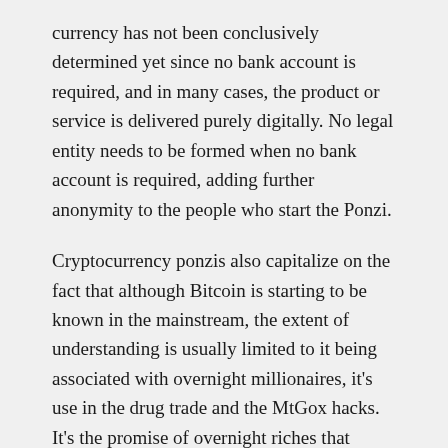currency has not been conclusively determined yet since no bank account is required, and in many cases, the product or service is delivered purely digitally. No legal entity needs to be formed when no bank account is required, adding further anonymity to the people who start the Ponzi.
Cryptocurrency ponzis also capitalize on the fact that although Bitcoin is starting to be known in the mainstream, the extent of understanding is usually limited to it being associated with overnight millionaires, it's use in the drug trade and the MtGox hacks. It's the promise of overnight riches that makes crypto Ponzis so alluring, much like how the huge gold price increase from 2000-2012 also birthed many gold-based Ponzi schemes.